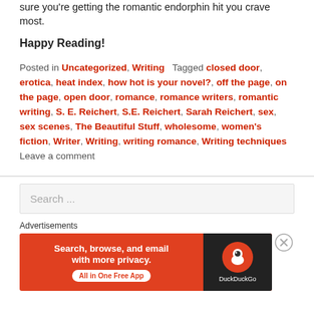sure you're getting the romantic endorphin hit you crave most.
Happy Reading!
Posted in Uncategorized, Writing   Tagged closed door, erotica, heat index, how hot is your novel?, off the page, on the page, open door, romance, romance writers, romantic writing, S. E. Reichert, S.E. Reichert, Sarah Reichert, sex, sex scenes, The Beautiful Stuff, wholesome, women's fiction, Writer, Writing, writing romance, Writing techniques   Leave a comment
Search ...
Advertisements
[Figure (infographic): DuckDuckGo advertisement banner with orange background. Text reads: Search, browse, and email with more privacy. All in One Free App. DuckDuckGo logo on dark background on right side.]